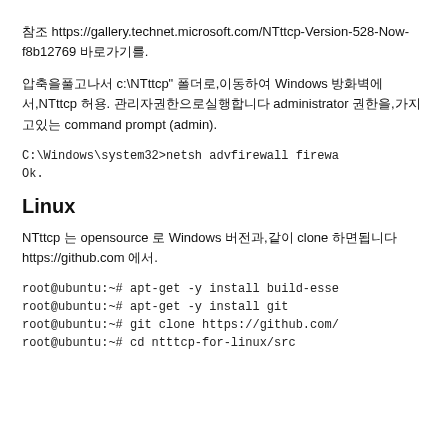참조 https://gallery.technet.microsoft.com/NTttcp-Version-528-Now-f8b12769 바로가기를.
압축을풀고나서 c:\NTttcp" 폴더로,이동하여 Windows 방화벽에서,NTttcp 허용. 관리자권한으로실행합니다 administrator 권한을,가지고있는 command prompt (admin).
C:\Windows\system32>netsh advfirewall firewa
Ok.
Linux
NTttcp 는 opensource 로 Windows 버전과,같이 clone 하면됩니다 https://github.com 에서.
root@ubuntu:~# apt-get -y install build-esse
root@ubuntu:~# apt-get -y install git
root@ubuntu:~# git clone https://github.com/
root@ubuntu:~# cd ntttcp-for-linux/src